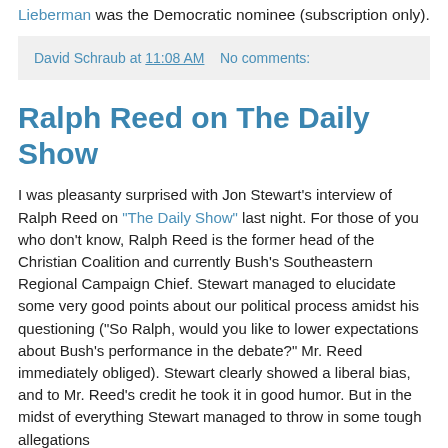Lieberman was the Democratic nominee (subscription only).
David Schraub at 11:08 AM   No comments:
Ralph Reed on The Daily Show
I was pleasanty surprised with Jon Stewart's interview of Ralph Reed on "The Daily Show" last night. For those of you who don't know, Ralph Reed is the former head of the Christian Coalition and currently Bush's Southeastern Regional Campaign Chief. Stewart managed to elucidate some very good points about our political process amidst his questioning ("So Ralph, would you like to lower expectations about Bush's performance in the debate?" Mr. Reed immediately obliged). Stewart clearly showed a liberal bias, and to Mr. Reed's credit he took it in good humor. But in the midst of everything Stewart managed to throw in some tough allegations
1) Iraq was a diversion for the War on Terror
2) North Korea is and was a greater threat than Iraq was